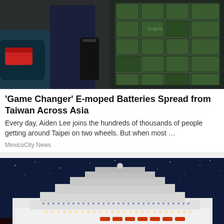[Figure (photo): Person plugging in or handling a black e-moped battery at a green battery swapping station]
'Game Changer' E-moped Batteries Spread from Taiwan Across Asia
Every day, Aiden Lee joins the hundreds of thousands of people getting around Taipei on two wheels. But when most …
MexicoCity News
[Figure (photo): Large white cruise ship sailing at night under a starry sky with port lights in the background]